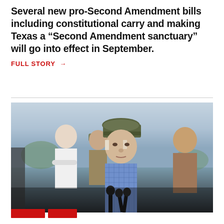Several new pro-Second Amendment bills including constitutional carry and making Texas a “Second Amendment sanctuary” will go into effect in September.
FULL STORY →
[Figure (photo): An older man wearing a camo baseball cap and light blue checkered shirt speaks at a press event with microphones in front of him. Several other men stand behind him in an outdoor setting.]